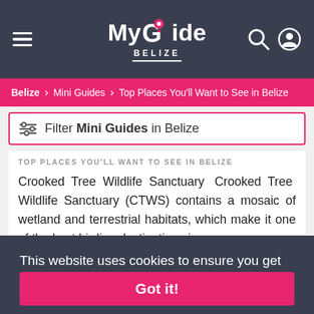My Guide BELIZE
Belize > Mini Guides > Top Places You'll Want to See in Belize
Filter Mini Guides in Belize
TOP PLACES YOU'LL WANT TO SEE IN BELIZE
Crooked Tree Wildlife Sanctuary Crooked Tree Wildlife Sanctuary (CTWS) contains a mosaic of wetland and terrestrial habitats, which make it one of the best birding destinations in ... elusive ... ce for ... creeks,
This website uses cookies to ensure you get the best experience on our website. Learn more Got it!